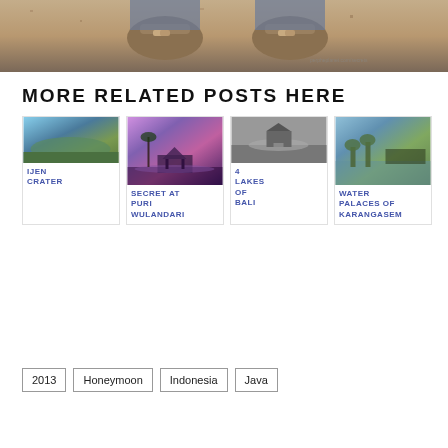[Figure (photo): Top-down photo of boots standing on sandy/earthy ground]
MORE RELATED POSTS HERE
[Figure (photo): Ijen Crater - blue sky over rocky volcanic landscape]
IJEN CRATER
[Figure (photo): Secret at Puri Wulandari - purple/pink sunset over lake with gazebo]
SECRET AT PURI WULANDARI
[Figure (photo): 4 Lakes of Bali - black and white photo of lake with temple]
4 LAKES OF BALI
[Figure (photo): Water Palaces of Karangasem - garden with water features and greenery]
WATER PALACES OF KARANGASEM
2013
Honeymoon
Indonesia
Java